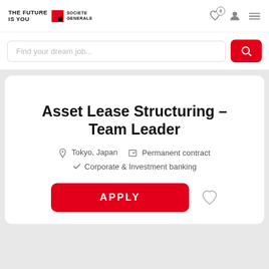THE FUTURE IS YOU — SOCIETE GENERALE
Find your dream job...
Asset Lease Structuring – Team Leader
Tokyo, Japan   Permanent contract   Corporate & Investment banking
APPLY